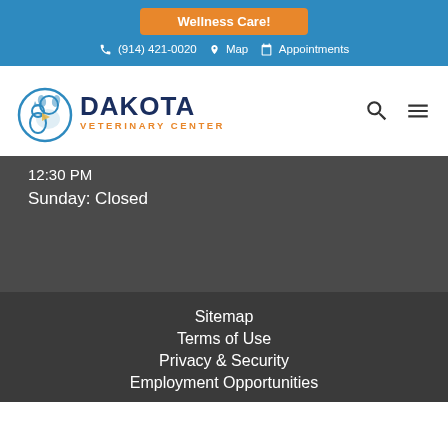Wellness Care!
(914) 421-0020  Map  Appointments
[Figure (logo): Dakota Veterinary Center logo with illustrated dog and cat]
12:30 PM
Sunday: Closed
Sitemap
Terms of Use
Privacy & Security
Employment Opportunities